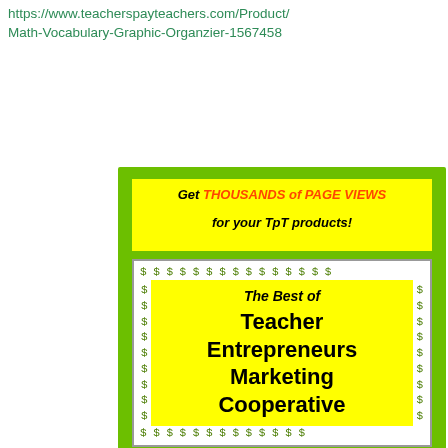https://www.teacherspayteachers.com/Product/Math-Vocabulary-Graphic-Organzier-1567458
[Figure (illustration): Green card advertisement for Teacher Entrepreneurs Marketing Cooperative. Contains yellow banner at top reading 'Get THOUSANDS of PAGE VIEWS for your TpT products!', a central white box with dollar sign border containing 'The Best of Teacher Entrepreneurs Marketing Cooperative' in bold italic, and yellow banner at bottom reading 'Purchase a one year membership at' with a URL link.]